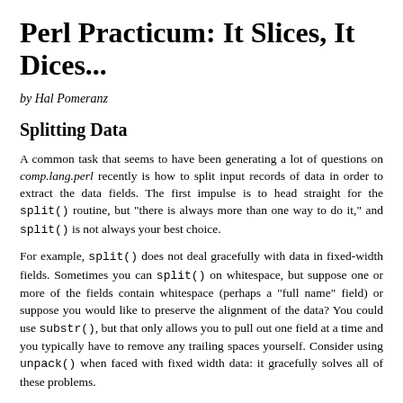Perl Practicum: It Slices, It Dices...
by Hal Pomeranz
Splitting Data
A common task that seems to have been generating a lot of questions on comp.lang.perl recently is how to split input records of data in order to extract the data fields. The first impulse is to head straight for the split() routine, but "there is always more than one way to do it," and split() is not always your best choice.
For example, split() does not deal gracefully with data in fixed-width fields. Sometimes you can split() on whitespace, but suppose one or more of the fields contain whitespace (perhaps a "full name" field) or suppose you would like to preserve the alignment of the data? You could use substr(), but that only allows you to pull out one field at a time and you typically have to remove any trailing spaces yourself. Consider using unpack() when faced with fixed width data: it gracefully solves all of these problems.